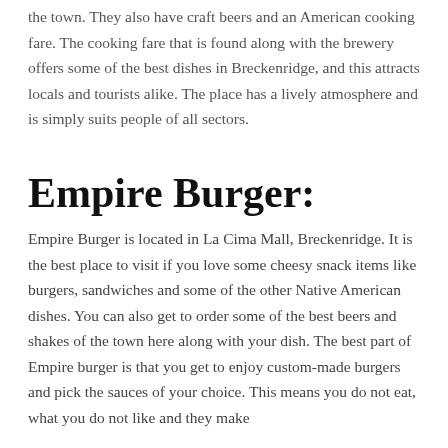the town. They also have craft beers and an American cooking fare. The cooking fare that is found along with the brewery offers some of the best dishes in Breckenridge, and this attracts locals and tourists alike. The place has a lively atmosphere and is simply suits people of all sectors.
Empire Burger:
Empire Burger is located in La Cima Mall, Breckenridge. It is the best place to visit if you love some cheesy snack items like burgers, sandwiches and some of the other Native American dishes. You can also get to order some of the best beers and shakes of the town here along with your dish. The best part of Empire burger is that you get to enjoy custom-made burgers and pick the sauces of your choice. This means you do not eat, what you do not like and they make